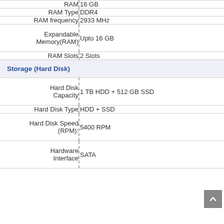| Specification | Value |
| --- | --- |
| RAM | 16 GB |
| RAM Type | DDR4 |
| RAM frequency | 2933 MHz |
| Expandable Memory(RAM) | Upto 16 GB |
| RAM Slots | 2 Slots |
| Storage (Hard Disk) |  |
| Hard Disk Capacity | 1 TB HDD + 512 GB SSD |
| Hard Disk Type | HDD + SSD |
| Hard Disk Speed (RPM): | 5400 RPM |
| Hardware Interface | SATA |